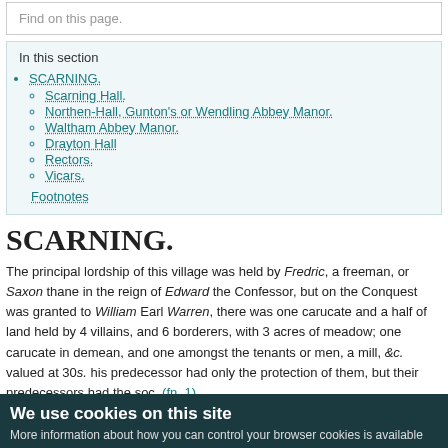Find on this page.
In this section
SCARNING.
Scarning Hall.
Northen-Hall, Gunton's or Wendling Abbey Manor.
Waltham Abbey Manor.
Drayton Hall
Rectors.
Vicars.
Footnotes
SCARNING.
The principal lordship of this village was held by Fredric, a freeman, or Saxon thane in the reign of Edward the Confessor, but on the Conquest was granted to William Earl Warren, there was one carucate and a half of land held by 4 villains, and 6 borderers, with 3 acres of meadow; one carucate in demean, and one amongst the tenants or men, a mill, &c. valued at 30s. his predecessor had only the protection of them, but their predecessors had the soc. (fn. 1)
We use cookies on this site
More information about how you can control your browser cookies is available